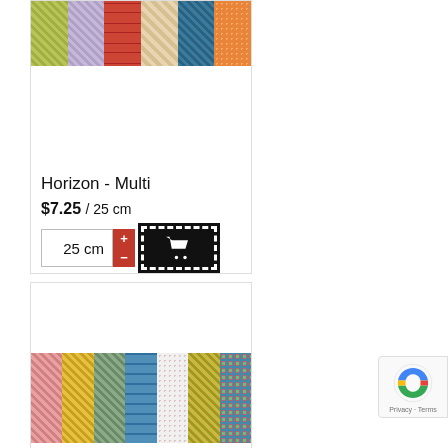[Figure (photo): Fabric swatch strip showing multiple colorful fabric patterns in vertical stripes - yellowy-green, purple, red damask, light cream, teal blue, and orange]
Horizon - Multi
$7.25 / 25 cm
[Figure (screenshot): Quantity selector showing 25 cm with plus/minus buttons and an add to cart button with shopping cart icon]
[Figure (photo): Second fabric swatch strip showing multiple colorful fabric patterns - pink, yellow, olive/grey, blue damask, white, yellow-green, teal with flowers]
[Figure (other): reCAPTCHA badge with Google logo and Privacy - Terms text]